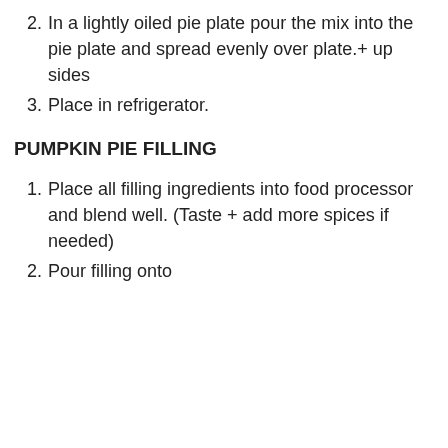2. In a lightly oiled pie plate pour the mix into the pie plate and spread evenly over plate.+ up sides
3. Place in refrigerator.
PUMPKIN PIE FILLING
1. Place all filling ingredients into food processor and blend well. (Taste + add more spices if needed)
2. Pour filling onto